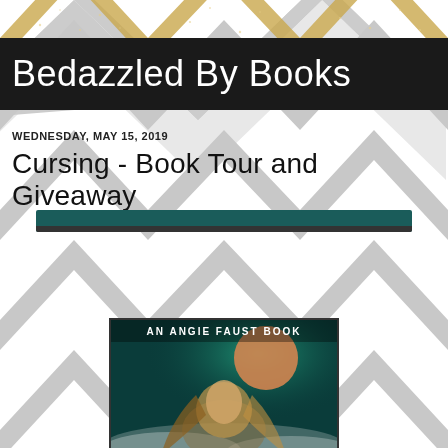[Figure (illustration): Chevron zigzag pattern background with grey and white chevrons, and gold glitter chevrons near the top]
Bedazzled By Books
WEDNESDAY, MAY 15, 2019
Cursing - Book Tour and Giveaway
[Figure (photo): Book cover partially visible at bottom: 'AN ANGIE FAUST BOOK' text at top, showing a woman with long blonde hair against a teal/green cosmic background with a moon or planet, dark border]